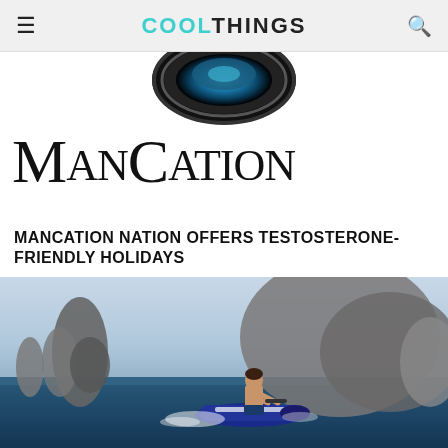COOLTHINGS
[Figure (photo): ManCation logo with dark circular emblem at top and large stylized text 'ManCation' below on white background]
MANCATION NATION OFFERS TESTOSTERONE-FRIENDLY HOLIDAYS
[Figure (photo): Shirtless man riding a jet ski on the ocean with rocky islands or sea stacks visible in the background]